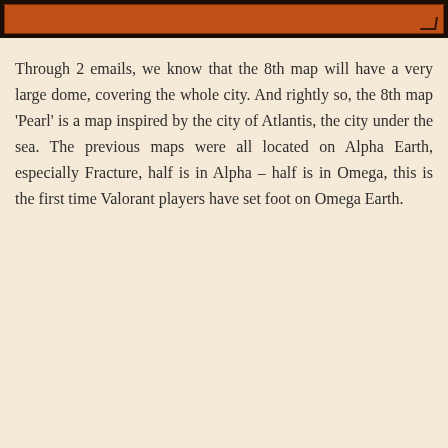[Figure (illustration): A decorative banner or illustration strip with dark brown border and orange/red background, partially visible at the top of the page.]
Through 2 emails, we know that the 8th map will have a very large dome, covering the whole city. And rightly so, the 8th map ‘Pearl’ is a map inspired by the city of Atlantis, the city under the sea. The previous maps were all located on Alpha Earth, especially Fracture, half is in Alpha – half is in Omega, this is the first time Valorant players have set foot on Omega Earth.